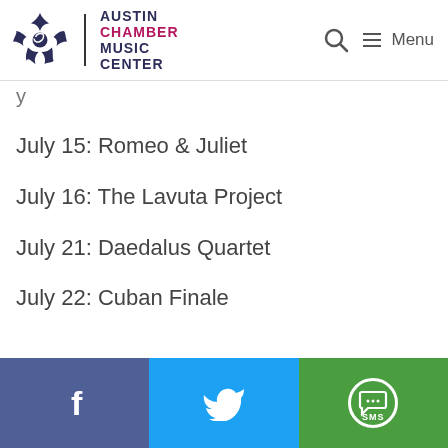Austin Chamber Music Center — Menu
y
July 15: Romeo & Juliet
July 16: The Lavuta Project
July 21: Daedalus Quartet
July 22: Cuban Finale
Facebook | Twitter | SMS